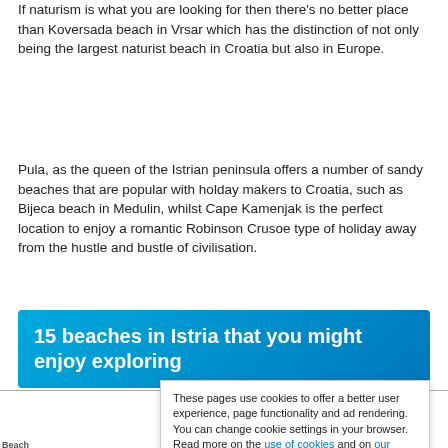If naturism is what you are looking for then there's no better place than Koversada beach in Vrsar which has the distinction of not only being the largest naturist beach in Croatia but also in Europe.
Pula, as the queen of the Istrian peninsula offers a number of sandy beaches that are popular with holday makers to Croatia, such as Bijeca beach in Medulin, whilst Cape Kamenjak is the perfect location to enjoy a romantic Robinson Crusoe type of holiday away from the hustle and bustle of civilisation.
15 beaches in Istria that you might enjoy exploring
| Beach | Facilities | Nudists | Children's | Performance | Sand | Seclusion |
| --- | --- | --- | --- | --- | --- | --- |
| Bijeca, Medulin |  |  |  |  |  | ✓ |
These pages use cookies to offer a better user experience, page functionality and ad rendering. You can change cookie settings in your browser. Read more on the use of cookies and on our privacy policy.